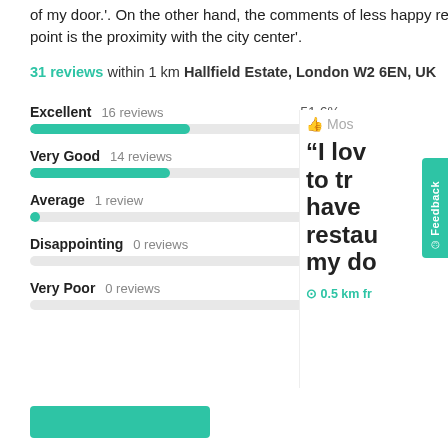of my door.'. On the other hand, the comments of less happy residents include 'The good point is the proximity with the city center'.
31 reviews within 1 km Hallfield Estate, London W2 6EN, UK
[Figure (bar-chart): Review ratings]
"I lo... to tr... have... restau... my do...
0.5 km fr